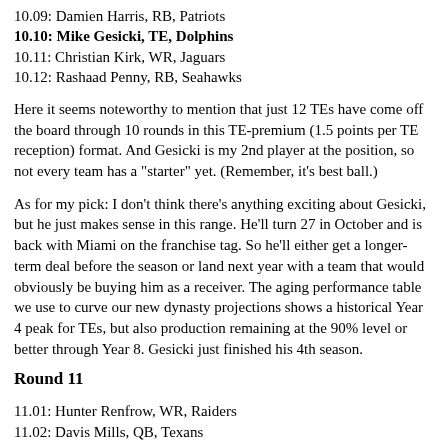10.09: Damien Harris, RB, Patriots
10.10: Mike Gesicki, TE, Dolphins
10.11: Christian Kirk, WR, Jaguars
10.12: Rashaad Penny, RB, Seahawks
Here it seems noteworthy to mention that just 12 TEs have come off the board through 10 rounds in this TE-premium (1.5 points per TE reception) format. And Gesicki is my 2nd player at the position, so not every team has a "starter" yet. (Remember, it's best ball.)
As for my pick: I don't think there's anything exciting about Gesicki, but he just makes sense in this range. He'll turn 27 in October and is back with Miami on the franchise tag. So he'll either get a longer-term deal before the season or land next year with a team that would obviously be buying him as a receiver. The aging performance table we use to curve our new dynasty projections shows a historical Year 4 peak for TEs, but also production remaining at the 90% level or better through Year 8. Gesicki just finished his 4th season.
Round 11
11.01: Hunter Renfrow, WR, Raiders
11.02: Davis Mills, QB, Texans